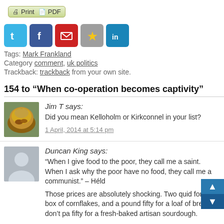[Figure (other): Print and PDF button with icons]
[Figure (other): Social sharing icons row: Twitter, Facebook, Email, Bookmark/Star, LinkedIn]
Tags: Mark Frankland
Category comment, uk politics
Trackback: trackback from your own site.
154 to “When co-operation becomes captivity”
Jim T says:
Did you mean Kelloholm or Kirkconnel in your list?
1 April, 2014 at 5:14 pm
Duncan King says:
“When I give food to the poor, they call me a saint. When I ask why the poor have no food, they call me a communist.” – Héld
Those prices are absolutely shocking. Two quid for a box of cornflakes, and a pound fifty for a loaf of bread? I don’t pa fifty for a fresh-baked artisan sourdough.
1 April, 2014 at 5:14 pm